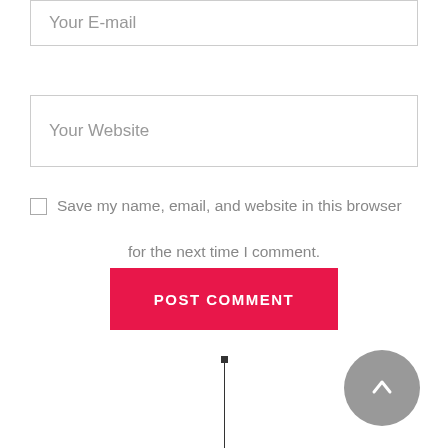Your E-mail
Your Website
Save my name, email, and website in this browser for the next time I comment.
POST COMMENT
[Figure (other): A vertical scroll indicator line with a small square dot at the top, and a circular grey scroll-to-top button with an upward arrow on the right side.]